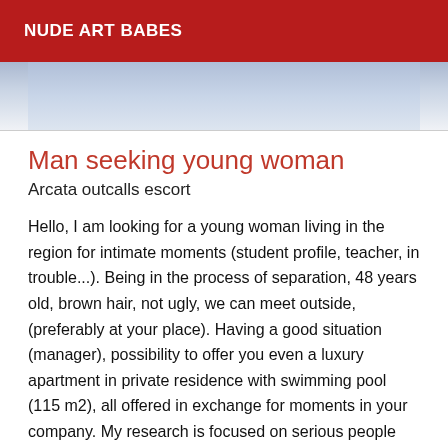NUDE ART BABES
[Figure (photo): Partial image visible at top of content area, blue-gray gradient background]
Man seeking young woman
Arcata outcalls escort
Hello, I am looking for a young woman living in the region for intimate moments (student profile, teacher, in trouble...). Being in the process of separation, 48 years old, brown hair, not ugly, we can meet outside, (preferably at your place). Having a good situation (manager), possibility to offer you even a luxury apartment in private residence with swimming pool (115 m2), all offered in exchange for moments in your company. My research is focused on serious people only, age and physical indifferent (a minimum) because I love to cuddle, kiss, lick everywhere ... everywhere ... Good hygiene. Contact by sms Only, I can send you my picture. Ps. Serious announcement and not only